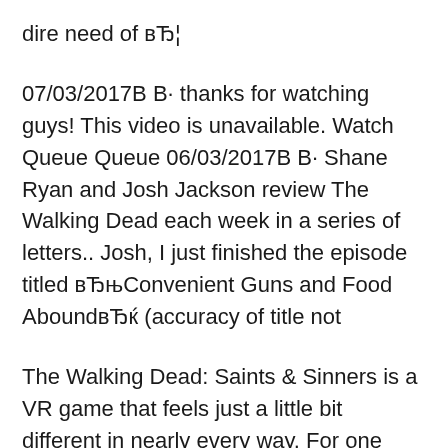dire need of вЂ¦
07/03/2017В В· thanks for watching guys! This video is unavailable. Watch Queue Queue 06/03/2017В В· Shane Ryan and Josh Jackson review The Walking Dead each week in a series of letters.. Josh, I just finished the episode titled вЂњConvenient Guns and Food AboundвЂќ (accuracy of title not
The Walking Dead: Saints & Sinners is a VR game that feels just a little bit different in nearly every way. For one thing, it's set in the world we all know and probably have mixed feelings about, which is to say it's our world, but with zombies and, I dunno, more readily